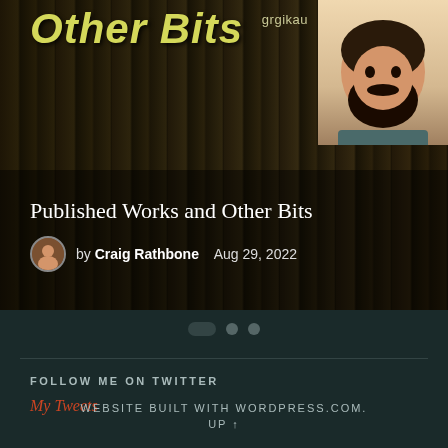[Figure (screenshot): Blog header image showing 'Published Works and Other Bits' with a dark background of books, stylized yellow 'Other Bits' title text, an illustrated avatar in the top-right corner labeled 'grgikau', a circular author photo, byline 'by Craig Rathbone  Aug 29, 2022']
by Craig Rathbone   Aug 29, 2022
[Figure (other): Pagination indicator with three dots, first dot active (pill shape), two circular dots]
FOLLOW ME ON TWITTER
My Tweets
WEBSITE BUILT WITH WORDPRESS.COM.
UP ↑